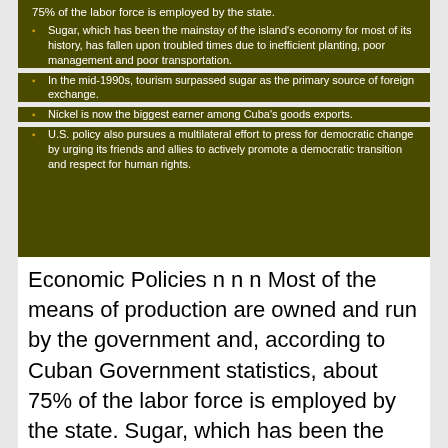75% of the labor force is employed by the state.
Sugar, which has been the mainstay of the island's economy for most of its history, has fallen upon troubled times due to inefficient planting, poor management and poor transportation.
In the mid-1990s, tourism surpassed sugar as the primary source of foreign exchange.
Nickel is now the biggest earner among Cuba's goods exports.
U.S. policy also pursues a multilateral effort to press for democratic change by urging its friends and allies to actively promote a democratic transition and respect for human rights.
Economic Policies n n n Most of the means of production are owned and run by the government and, according to Cuban Government statistics, about 75% of the labor force is employed by the state. Sugar, which has been the mainstay of the island's economy for most of its history, has fallen upon troubled times due to inefficient planting, poor management and poor transportation. In the mid-1990 s, tourism surpassed sugar as the primary source of foreign exchange. Nickel is now the biggest earner among Cuba's goods exports. U.S. policy also pursues a multilateral effort to press